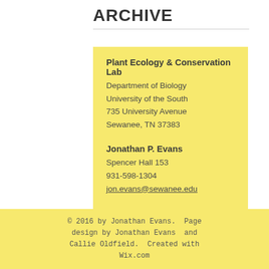ARCHIVE
Plant Ecology & Conservation Lab
Department of Biology
University of the South
735 University Avenue
Sewanee, TN 37383
Jonathan P. Evans
Spencer Hall 153
931-598-1304
jon.evans@sewanee.edu
Sewanee Herbarium
Spencer Hall 171
931-598-3346
© 2016 by Jonathan Evans.  Page design by Jonathan Evans  and Callie Oldfield.  Created with Wix.com